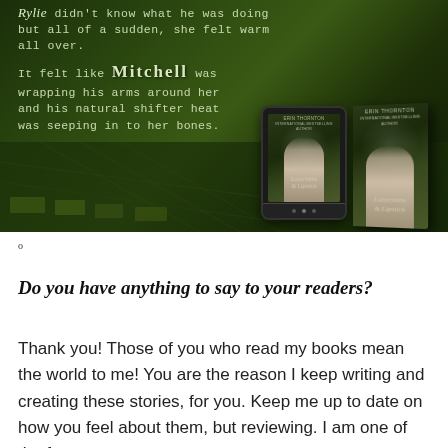[Figure (illustration): Book promotional image with dark green forest background. Text reads: 'Rylie didn't know what he was doing but all of a sudden, she felt warm all over. It felt like Mitchell was wrapping his arms around her and his natural shifter heat was seeping in to her bones.' Shows ebook device and print book with cover 'Labyrinths & Lipstick' by Erin Thornton.]
o
Do you have anything to say to your readers?
Thank you! Those of you who read my books mean the world to me! You are the reason I keep writing and creating these stories, for you. Keep me up to date on how you feel about them, but reviewing. I am one of the few